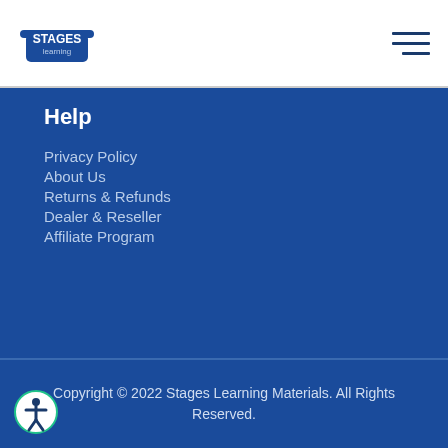[Figure (logo): Stages Learning logo with text 'STAGES learning' in blue]
Help
Privacy Policy
About Us
Returns & Refunds
Dealer & Reseller
Affiliate Program
Copyright © 2022 Stages Learning Materials. All Rights Reserved.